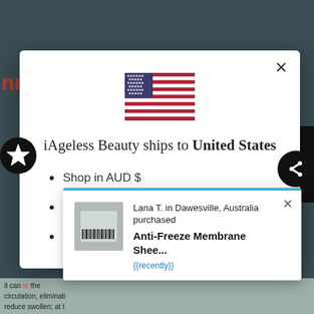[Figure (screenshot): Website modal dialog showing iAgeless Beauty shipping to United States, with US flag SVG, bullet list of shop/shipping/language options, and a popup notification for a recent purchase of Anti-Freeze Membrane Sheet by Lana T. in Dawesville, Australia with {{recently}} timestamp. Background shows blurred product page content.]
iAgeless Beauty ships to United States
Shop in AUD $
Get shipping options for United States
Language set to English
Lana T. in Dawesville, Australia purchased
Anti-Freeze Membrane Shee...
{{recently}}